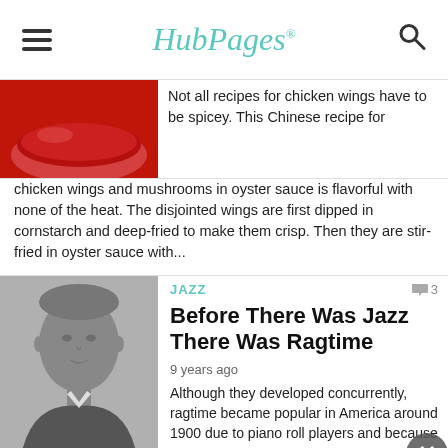HubPages
[Figure (photo): Red bowl or plate, partial view, close-up, red background]
Not all recipes for chicken wings have to be spicey. This Chinese recipe for chicken wings and mushrooms in oyster sauce is flavorful with none of the heat. The disjointed wings are first dipped in cornstarch and deep-fried to make them crisp. Then they are stir-fried in oyster sauce with...
[Figure (photo): Black and white portrait photograph of a man in formal 19th century attire]
JAZZ
Before There Was Jazz There Was Ragtime
9 years ago
Although they developed concurrently, ragtime became popular in America around 1900 due to piano roll players and because of one song, "The Maple Leaf Rag". Jazz had to wait until the Original Dixieland Jazz Band made their first recordings in 1917. In 1973, the movie